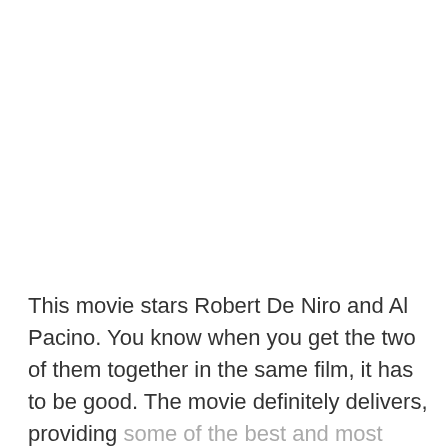This movie stars Robert De Niro and Al Pacino. You know when you get the two of them together in the same film, it has to be good. The movie definitely delivers, providing some of the best and most action-packed scenes out of any movie on this list. It also provides a good storyline and enough subplots to keep you busy from beginning to end. Obviously, the acting is second to none, as these two